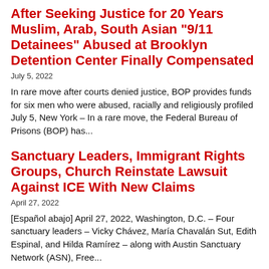After Seeking Justice for 20 Years Muslim, Arab, South Asian "9/11 Detainees" Abused at Brooklyn Detention Center Finally Compensated
July 5, 2022
In rare move after courts denied justice, BOP provides funds for six men who were abused, racially and religiously profiled July 5, New York – In a rare move, the Federal Bureau of Prisons (BOP) has...
Sanctuary Leaders, Immigrant Rights Groups, Church Reinstate Lawsuit Against ICE With New Claims
April 27, 2022
[Español abajo] April 27, 2022, Washington, D.C. – Four sanctuary leaders – Vicky Chávez, María Chavalán Sut, Edith Espinal, and Hilda Ramírez – along with Austin Sanctuary Network (ASN), Free...